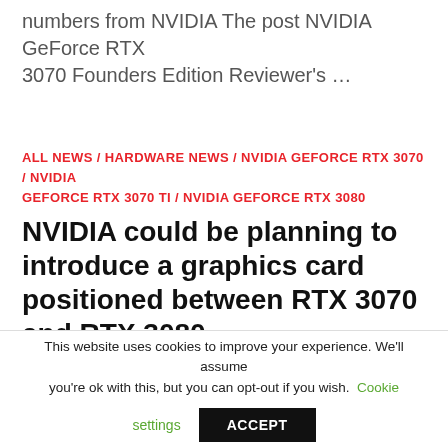numbers from NVIDIA The post NVIDIA GeForce RTX 3070 Founders Edition Reviewer's …
ALL NEWS / HARDWARE NEWS / NVIDIA GEFORCE RTX 3070 / NVIDIA GEFORCE RTX 3070 TI / NVIDIA GEFORCE RTX 3080
NVIDIA could be planning to introduce a graphics card positioned between RTX 3070 and RTX 3080
by Marc  October 23, 2020  0
This website uses cookies to improve your experience. We'll assume you're ok with this, but you can opt-out if you wish. Cookie settings ACCEPT